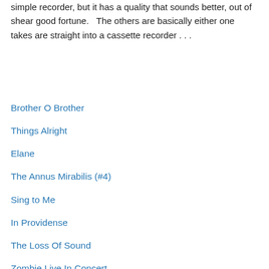simple recorder, but it has a quality that sounds better, out of shear good fortune.   The others are basically either one takes are straight into a cassette recorder . . .
Brother O Brother
Things Alright
Elane
The Annus Mirabilis (#4)
Sing to Me
In Providense
The Loss Of Sound
Zombie Live In Concert